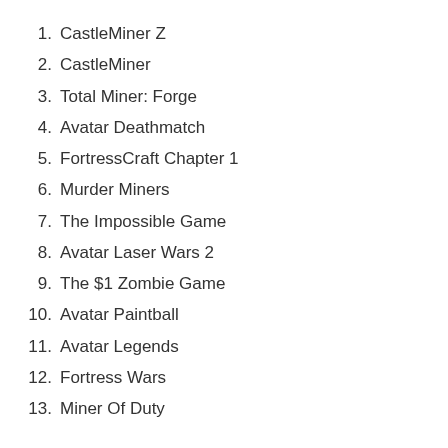1. CastleMiner Z
2. CastleMiner
3. Total Miner: Forge
4. Avatar Deathmatch
5. FortressCraft Chapter 1
6. Murder Miners
7. The Impossible Game
8. Avatar Laser Wars 2
9. The $1 Zombie Game
10. Avatar Paintball
11. Avatar Legends
12. Fortress Wars
13. Miner Of Duty